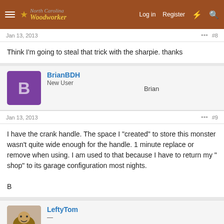North Carolina Woodworker — Log in | Register
Jan 13, 2013   #8
Think I'm going to steal that trick with the sharpie. thanks
BrianBDH
New User
Brian
Jan 13, 2013   #9
I have the crank handle. The space I "created" to store this monster wasn't quite wide enough for the handle. 1 minute replace or remove when using. I am used to that because I have to return my " shop" to its garage configuration most nights.

B
LeftyTom